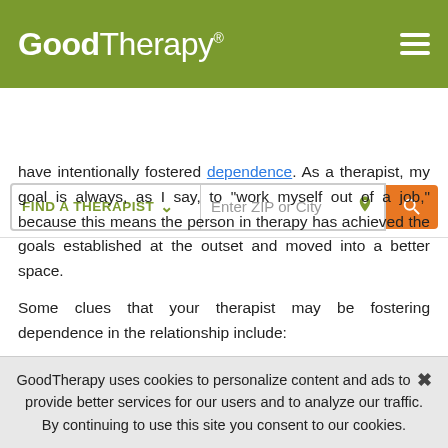GoodTherapy® [hamburger menu]
FIND A THERAPIST ▾  Enter ZIP or City 🔍
have intentionally fostered dependence. As a therapist, my goal is always, as I say, to "work myself out of a job," because this means the person in therapy has achieved the goals established at the outset and moved into a better space.
Some clues that your therapist may be fostering dependence in the relationship include:
Pressuring you to cut off ties with important people in your life who support you.
Encouraging frequent out-of-session contacts with no
GoodTherapy uses cookies to personalize content and ads to provide better services for our users and to analyze our traffic. By continuing to use this site you consent to our cookies. ✕